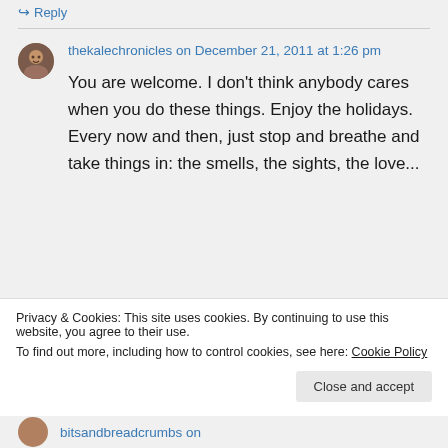↪ Reply
thekalechronicles on December 21, 2011 at 1:26 pm
You are welcome. I don't think anybody cares when you do these things. Enjoy the holidays. Every now and then, just stop and breathe and take things in: the smells, the sights, the love...
Privacy & Cookies: This site uses cookies. By continuing to use this website, you agree to their use.
To find out more, including how to control cookies, see here: Cookie Policy
Close and accept
bitsandbreadcrumbs on